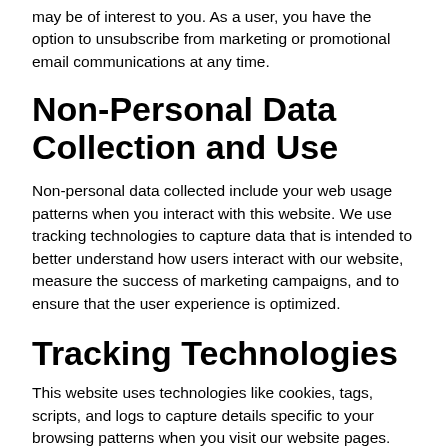may be of interest to you. As a user, you have the option to unsubscribe from marketing or promotional email communications at any time.
Non-Personal Data Collection and Use
Non-personal data collected include your web usage patterns when you interact with this website. We use tracking technologies to capture data that is intended to better understand how users interact with our website, measure the success of marketing campaigns, and to ensure that the user experience is optimized.
Tracking Technologies
This website uses technologies like cookies, tags, scripts, and logs to capture details specific to your browsing patterns when you visit our website pages.